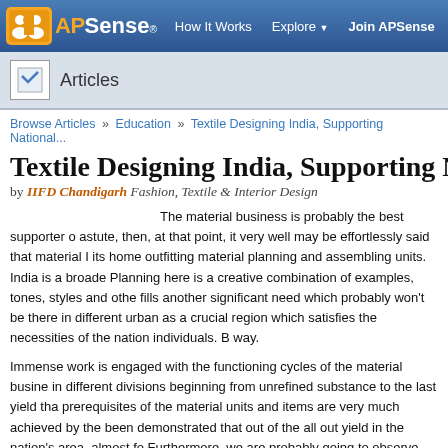APSense® — How It Works   Explore ▾   Join APSense
Articles
Browse Articles » Education » Textile Designing India, Supporting National...
Textile Designing India, Supporting Na...
by IIFD Chandigarh  Fashion, Textile & Interior Design
The material business is probably the best supporter o... astute, then, at that point, it very well may be effortlessly said that material I... its home outfitting material planning and assembling units. India is a broade... Planning here is a creative combination of examples, tones, styles and othe... fills another significant need which probably won't be there in different urban... as a crucial region which satisfies the necessities of the nation individuals. B... way.
Immense work is engaged with the functioning cycles of the material busine... in different divisions beginning from unrefined substance to the last yield tha... prerequisites of the material units and items are very much achieved by the... been demonstrated that out of the all out yield in the nation's area, almost fo... Furthermore, we are probably going to observe substantially more before lo...